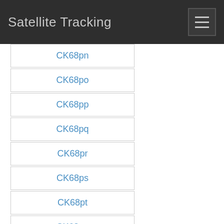Satellite Tracking
CK68pn
CK68po
CK68pp
CK68pq
CK68pr
CK68ps
CK68pt
CK68pu
CK68pv
CK68pw
CK68px
CK68qa
CK68qb
CK68qc
CK68qd
CK68qe
CK68qf
CK68qg